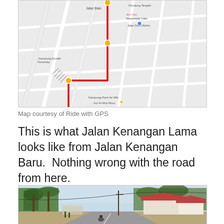[Figure (map): Map from Ride with GPS showing a route marked in red through streets including Jalan Kenangan Lama and Jalan Kenangan Baru, with yellow location markers, on a light grey street map background.]
Map courtesy of Ride with GPS
This is what Jalan Kenangan Lama looks like from Jalan Kenangan Baru.  Nothing wrong with the road from here.
[Figure (photo): Street-level photo of a rural road in Malaysia, with palm trees and wooden houses on the right side, a paved road extending into the distance, utility poles with wires, and a person on a motorcycle in the distance.]